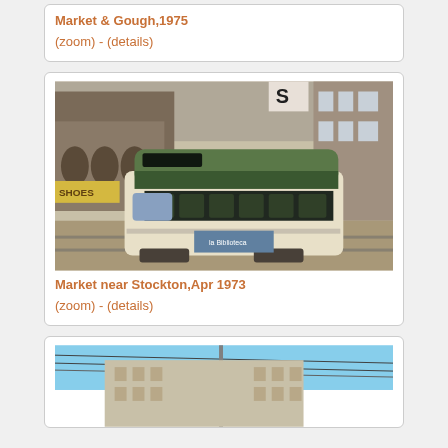Market & Gough,1975
(zoom) - (details)
[Figure (photo): Vintage streetcar on Market Street near Stockton, San Francisco, April 1973. Green and cream colored PCC streetcar on tracks with historic buildings in background.]
Market near Stockton,Apr 1973
(zoom) - (details)
[Figure (photo): Partial view of streetcar or transit scene with blue sky and multi-story building visible, Market Street area.]